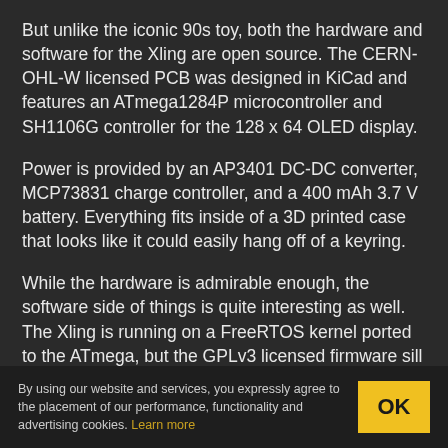But unlike the iconic 90s toy, both the hardware and software for the Xling are open source. The CERN-OHL-W licensed PCB was designed in KiCad and features an ATmega1284P microcontroller and SH1106G controller for the 128 x 64 OLED display.
Power is provided by an AP3401 DC-DC converter, MCP73831 charge controller, and a 400 mAh 3.7 V battery. Everything fits inside of a 3D printed case that looks like it could easily hang off of a keyring.
While the hardware is admirable enough, the software side of things is quite interesting as well. The Xling is running on a FreeRTOS kernel ported to the ATmega, but the GPLv3 licensed firmware sill
By using our website and services, you expressly agree to the placement of our performance, functionality and advertising cookies. Learn more